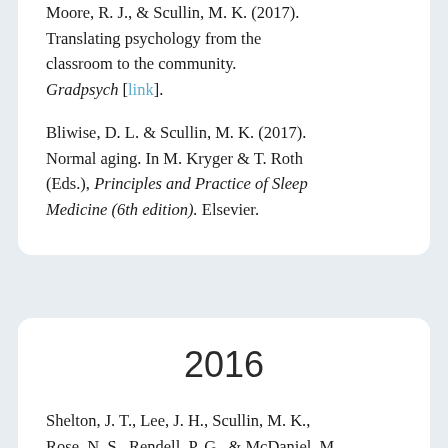Moore, R. J., & Scullin, M. K. (2017). Translating psychology from the classroom to the community. Gradpsych [link].
Bliwise, D. L. & Scullin, M. K. (2017). Normal aging. In M. Kryger & T. Roth (Eds.), Principles and Practice of Sleep Medicine (6th edition). Elsevier.
2016
Shelton, J. T., Lee, J. H., Scullin, M. K., Rose, N. S., Rendell, P. G., & McDaniel, M. A. (2016). Improving prospective